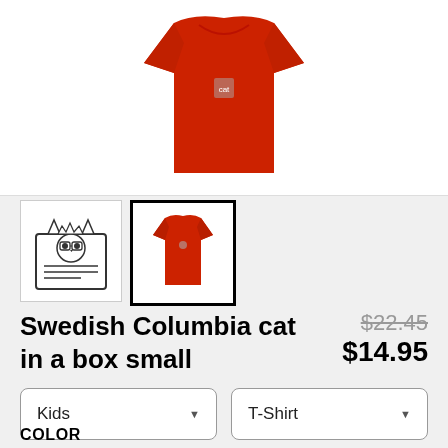[Figure (photo): Red kids t-shirt product photo on white background]
[Figure (illustration): Thumbnail showing cat in box logo illustration]
[Figure (photo): Thumbnail showing red kids t-shirt (selected)]
Swedish Columbia cat in a box small
$22.45 (strikethrough original price) $14.95 (sale price)
Kids dropdown, T-Shirt dropdown
COLOR